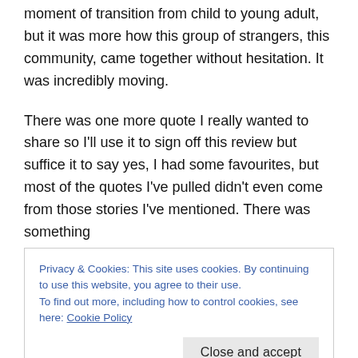moment of transition from child to young adult, but it was more how this group of strangers, this community, came together without hesitation. It was incredibly moving.
There was one more quote I really wanted to share so I'll use it to sign off this review but suffice it to say yes, I had some favourites, but most of the quotes I've pulled didn't even come from those stories I've mentioned. There was something
Privacy & Cookies: This site uses cookies. By continuing to use this website, you agree to their use.
To find out more, including how to control cookies, see here: Cookie Policy
of trying to care about the newest protests and the